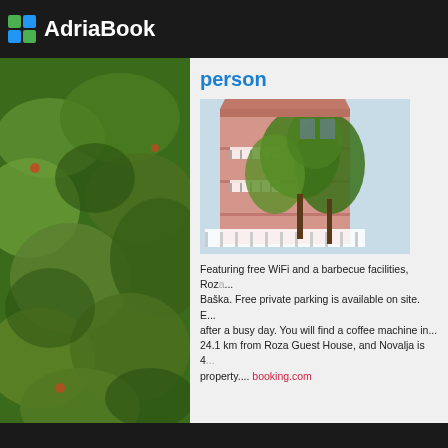AdriaBook
person
[Figure (photo): Pink multi-storey guest house building with balconies, partially obscured by green trees in foreground]
[Figure (photo): Left side background: green leafy trees/vegetation]
[Figure (photo): Right side background: blue sea water and stone rooftop]
Featuring free WiFi and a barbecue facilities, Roza... Baška. Free private parking is available on site. E... after a busy day. You will find a coffee machine in... 24.1 km from Roza Guest House, and Novalja is 4... property.... booking.com